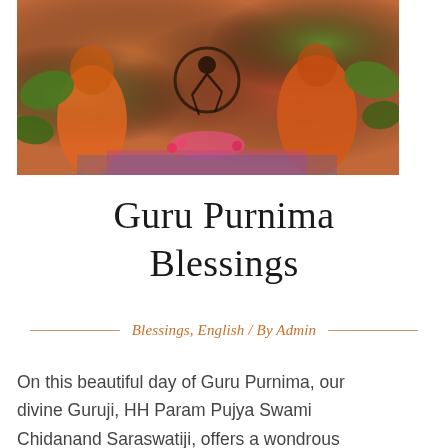[Figure (photo): A Hindu puja/ceremony scene with people in orange robes seated around ritual items including a Nataraja (dancing Shiva) statue, flower offerings, and colorful decorations on a mat]
Guru Purnima Blessings
Blessings, English / By Admin
On this beautiful day of Guru Purnima, our divine Guruji, HH Param Pujya Swami Chidanand Saraswatiji, offers a wondrous message and blessing, explaining the Guru relationship and detailing the sacred tradition that makes the relationship with the Guru so